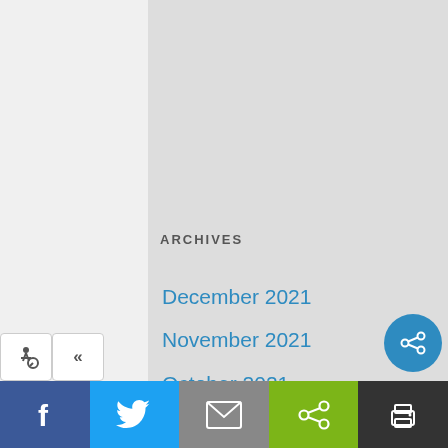RECENT COMMENTS
A WordPress Commenter on Hello world!
ARCHIVES
December 2021
November 2021
October 2021
September 2021
August 2021
July 2021
June 2021
[Figure (screenshot): Bottom social sharing toolbar with Facebook, Twitter, email, share, and print icons; accessibility and collapse buttons; floating share circle button]